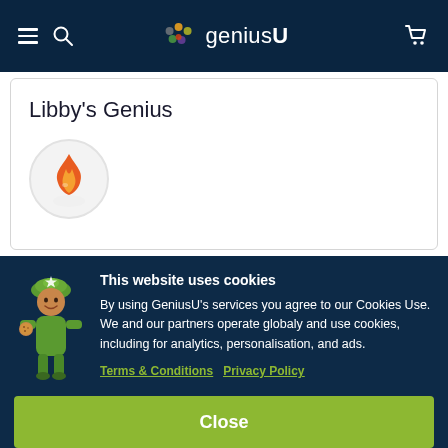geniusU — navigation bar with hamburger, search, logo, and cart icons
Libby's Genius
[Figure (illustration): Circular profile area with orange flame character illustration]
This website uses cookies
By using GeniusU's services you agree to our Cookies Use. We and our partners operate globaly and use cookies, including for analytics, personalisation, and ads.
Terms & Conditions   Privacy Policy
Close